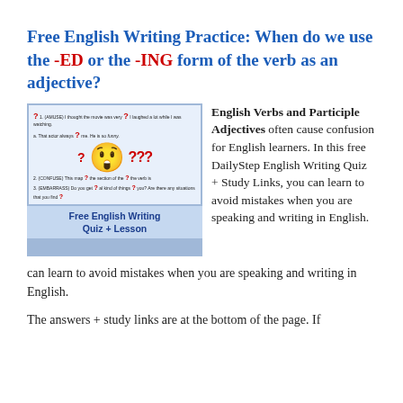Free English Writing Practice: When do we use the -ED or the -ING form of the verb as an adjective?
[Figure (illustration): Quiz worksheet image showing a confused emoji face with thought bubble containing '???', red question marks, and text 'Free English Writing Quiz + Lesson' on a blue background, followed by a light blue bar.]
English Verbs and Participle Adjectives often cause confusion for English learners. In this free DailyStep English Writing Quiz + Study Links, you can learn to avoid mistakes when you are speaking and writing in English.
The answers + study links are at the bottom of the page. If